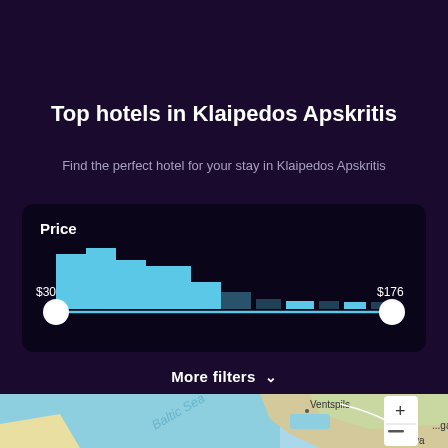[Figure (logo): Circular logo/icon in pink-purple gradient at top center]
Top hotels in Klaipedos Apskritis
Find the perfect hotel for your stay in Klaipedos Apskritis
[Figure (histogram): Price range histogram with range slider from $30 to $176]
More filters ∨
[Figure (map): Map showing Baltic Sea region with Ventspils, Jelgava, and surrounding areas]